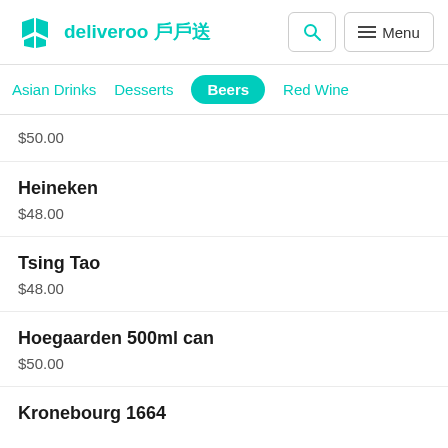deliveroo 戶戶送
Asian Drinks
Desserts
Beers
Red Wine
$50.00
Heineken
$48.00
Tsing Tao
$48.00
Hoegaarden 500ml can
$50.00
Kronebourg 1664